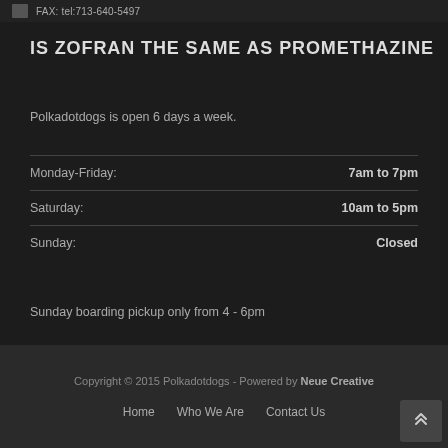FAX: tel:713-640-5497
IS ZOFRAN THE SAME AS PROMETHAZINE
Polkadotdogs is open 6 days a week.
|  |  |
| --- | --- |
| Monday-Friday: | 7am to 7pm |
| Saturday: | 10am to 5pm |
| Sunday: | Closed |
Sunday boarding pickup only from 4 - 6pm
Copyright © 2015 Polkadotdogs - Powered by Neue Creative
Home  Who We Are  Contact Us